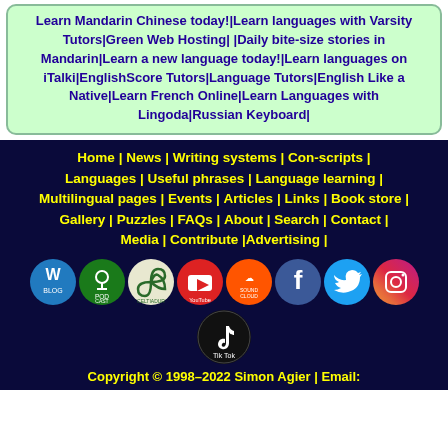Learn Mandarin Chinese today! | Learn languages with Varsity Tutors | Green Web Hosting | Daily bite-size stories in Mandarin | Learn a new language today! | Learn languages on iTalki | EnglishScore Tutors | Language Tutors | English Like a Native | Learn French Online | Learn Languages with Lingoda | Russian Keyboard |
Home | News | Writing systems | Con-scripts | Languages | Useful phrases | Language learning | Multilingual pages | Events | Articles | Links | Book store | Gallery | Puzzles | FAQs | About | Search | Contact | Media | Contribute | Advertising |
[Figure (infographic): Row of social media circular icons: Blog (WordPress), Podcast, Celtiadur, YouTube, SoundCloud, Facebook, Twitter, Instagram, and below center: TikTok]
Copyright © 1998–2022 Simon Agier | Email: